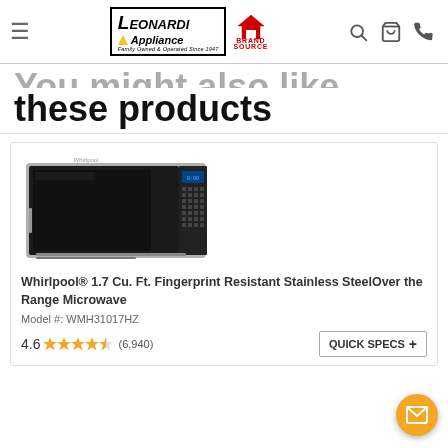Leonardi Appliance — BrandSource header with navigation icons
these products
[Figure (photo): Whirlpool over-the-range microwave in stainless steel, displayed in a product card with gray body and black front panel with control buttons]
Whirlpool® 1.7 Cu. Ft. Fingerprint Resistant Stainless SteelOver the Range Microwave
Model #: WMH31017HZ
4.6 ★★★★★ (6,940) QUICK SPECS +